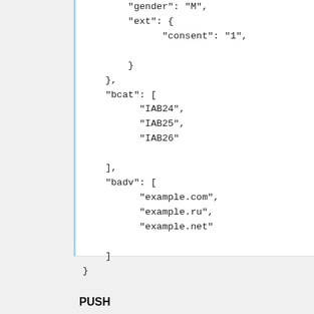"gender": "M",
"ext": {
    "consent": "1",
}
},
"bcat": [
    "IAB24",
    "IAB25",
    "IAB26"
],
"badv": [
    "example.com",
    "example.ru",
    "example.net"
]
}
PUSH